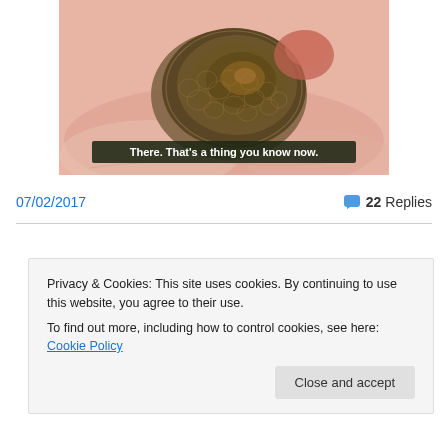[Figure (photo): Close-up photo of a snail shell held by a human hand, with macro detail of the shell texture. Overlaid text caption reads: There. That's a thing you know now.]
07/02/2017
💬 22 Replies
Privacy & Cookies: This site uses cookies. By continuing to use this website, you agree to their use.
To find out more, including how to control cookies, see here: Cookie Policy
Close and accept